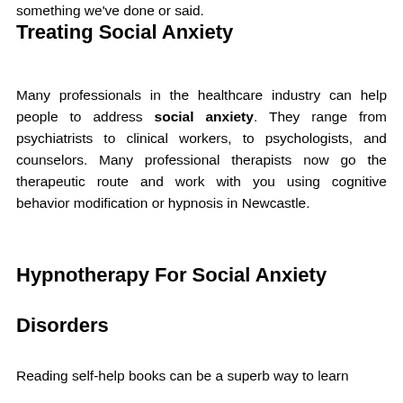something we've done or said.
Treating Social Anxiety
Many professionals in the healthcare industry can help people to address social anxiety. They range from psychiatrists to clinical workers, to psychologists, and counselors. Many professional therapists now go the therapeutic route and work with you using cognitive behavior modification or hypnosis in Newcastle.
Hypnotherapy For Social Anxiety Disorders
Reading self-help books can be a superb way to learn